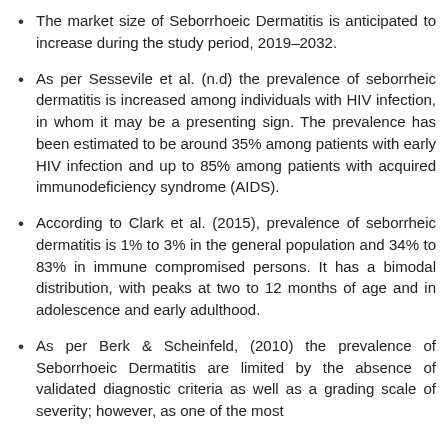The market size of Seborrhoeic Dermatitis is anticipated to increase during the study period, 2019–2032.
As per Sessevile et al. (n.d) the prevalence of seborrheic dermatitis is increased among individuals with HIV infection, in whom it may be a presenting sign. The prevalence has been estimated to be around 35% among patients with early HIV infection and up to 85% among patients with acquired immunodeficiency syndrome (AIDS).
According to Clark et al. (2015), prevalence of seborrheic dermatitis is 1% to 3% in the general population and 34% to 83% in immune compromised persons. It has a bimodal distribution, with peaks at two to 12 months of age and in adolescence and early adulthood.
As per Berk & Scheinfeld, (2010) the prevalence of Seborrhoeic Dermatitis are limited by the absence of validated diagnostic criteria as well as a grading scale of severity; however, as one of the most